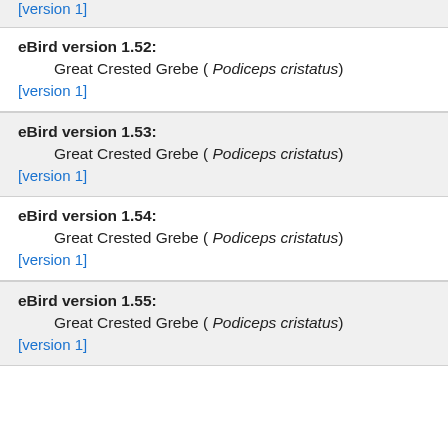[version 1]
eBird version 1.52: Great Crested Grebe ( Podiceps cristatus) [version 1]
eBird version 1.53: Great Crested Grebe ( Podiceps cristatus) [version 1]
eBird version 1.54: Great Crested Grebe ( Podiceps cristatus) [version 1]
eBird version 1.55: Great Crested Grebe ( Podiceps cristatus) [version 1]